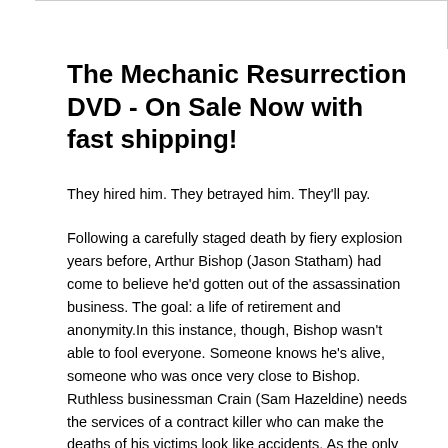The Mechanic Resurrection DVD - On Sale Now with fast shipping!
They hired him. They betrayed him. They'll pay.
Following a carefully staged death by fiery explosion years before, Arthur Bishop (Jason Statham) had come to believe he'd gotten out of the assassination business. The goal: a life of retirement and anonymity.In this instance, though, Bishop wasn't able to fool everyone. Someone knows he's alive, someone who was once very close to Bishop. Ruthless businessman Crain (Sam Hazeldine) needs the services of a contract killer who can make the deaths of his victims look like accidents. As the only individual with inside knowledge about Bishop's former life, Crain will do whatever it takes in order to get the mechanic to come out of retirement and provide his unique services. Normally, Bishop wouldn't consider the possibility, since threats to his own being aren't about to weaken a resolve built up over years of perilous work. This